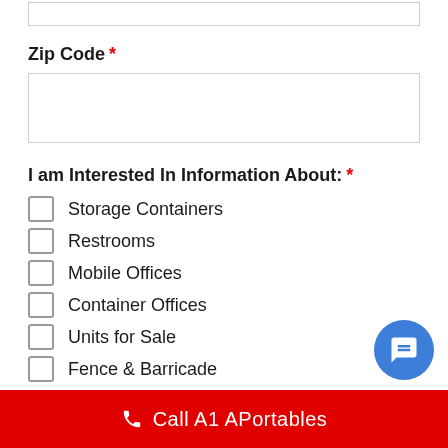[input box top]
Zip Code *
[Zip Code input field]
I am Interested In Information About: *
Storage Containers
Restrooms
Mobile Offices
Container Offices
Units for Sale
Fence & Barricade
Additional Information *
[Additional Information input field]
Call A1 APortables